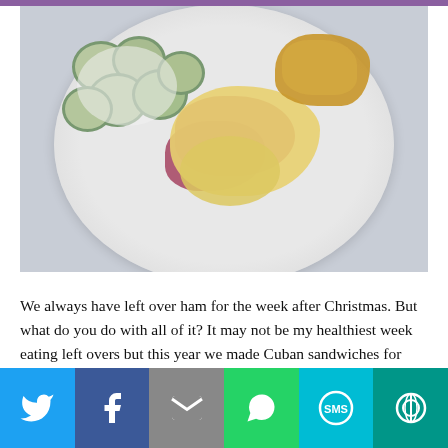[Figure (photo): Top-down view of a white plate with Cuban sandwich made from leftover ham, melted cheese sauce, bread/biscuit, and a side of cucumber salad with cream dressing]
We always have left over ham for the week after Christmas. But what do you do with all of it? It may not be my healthiest week eating left overs but this year we made Cuban sandwiches for lunch. They were delish! Ingredients I did not really measure anything for this, as I just made …
[Figure (infographic): Social sharing bar with Twitter, Facebook, Email, WhatsApp, SMS, and More buttons]